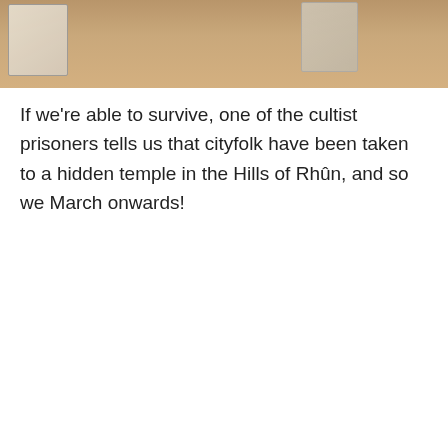[Figure (photo): Top portion of a board game scene on a wooden table, showing game cards laid out]
If we're able to survive, one of the cultist prisoners tells us that cityfolk have been taken to a hidden temple in the Hills of Rhûn, and so we March onwards!
[Figure (photo): Board game cards laid out on a wooden table, including a deck of face-down cards, a location card (The Forgotten Temple), a character card, and an event card (Escape to Mirkwood). A game box is visible in the top left corner.]